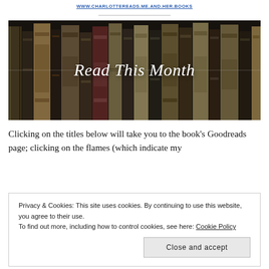www.charlottereads.me.and.her.books
[Figure (photo): A row of old antique books on a shelf, dark moody lighting, with overlaid cursive text reading 'Read This Month']
Clicking on the titles below will take you to the book's Goodreads page; clicking on the flames (which indicate my
Privacy & Cookies: This site uses cookies. By continuing to use this website, you agree to their use. To find out more, including how to control cookies, see here: Cookie Policy
Close and accept